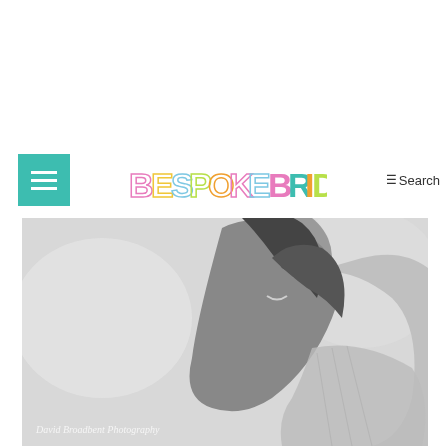[Figure (logo): Bespoke Bride colorful logo with hamburger menu button in teal and Search link]
[Figure (photo): Black and white photograph of a smiling woman with dark hair, credit: David Broadbent Photography]
This is not a criticism. There are some fabulous images created by skilled and